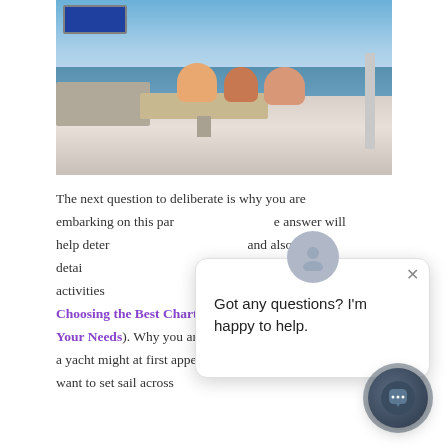[Figure (photo): Photo of a yacht deck with three people seated around a wooden table with food, blue ocean and sky in background, TV screen visible in upper left corner]
The next question to deliberate is why you are embarking on this particular journey. The answer will help determine the best destination and also a more detailed list of elements, like the itinerary and activities during the course of the charter (see Choosing the Best Charter Yacht to Accommodate Your Needs). Why you and your party are chartering a yacht might at first appear obvious, because you want to set sail across